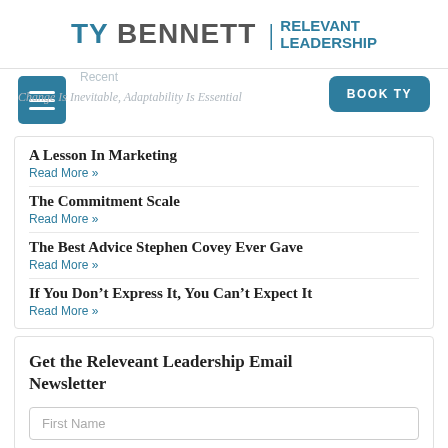TY BENNETT | RELEVANT LEADERSHIP
Recent
Change Is Inevitable, Adaptability Is Essential
A Lesson In Marketing
Read More »
The Commitment Scale
Read More »
The Best Advice Stephen Covey Ever Gave
Read More »
If You Don't Express It, You Can't Expect It
Read More »
Get the Releveant Leadership Email Newsletter
First Name